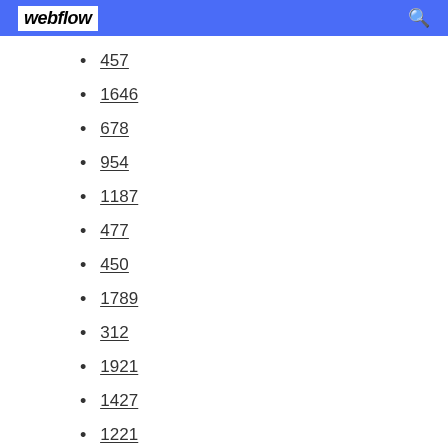webflow
457
1646
678
954
1187
477
450
1789
312
1921
1427
1221